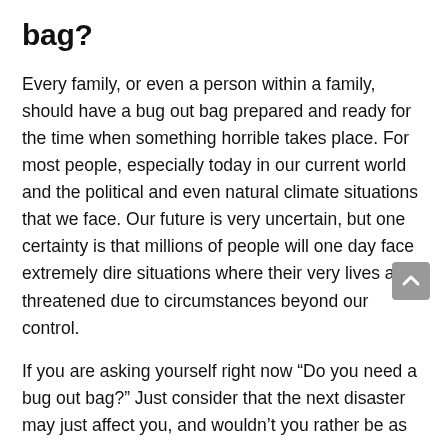bag?
Every family, or even a person within a family, should have a bug out bag prepared and ready for the time when something horrible takes place. For most people, especially today in our current world and the political and even natural climate situations that we face. Our future is very uncertain, but one certainty is that millions of people will one day face extremely dire situations where their very lives are threatened due to circumstances beyond our control.
If you are asking yourself right now “Do you need a bug out bag?” Just consider that the next disaster may just affect you, and wouldn’t you rather be as